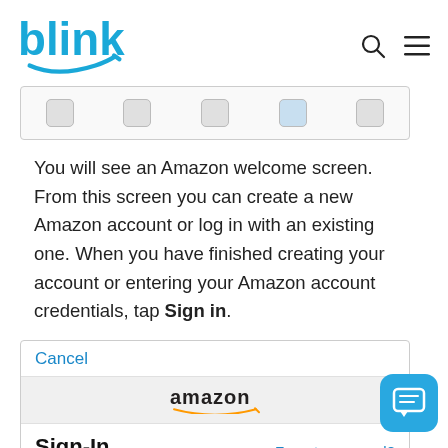blink
[Figure (screenshot): Top portion of a Blink app screen showing camera/device icons in a horizontal strip]
You will see an Amazon welcome screen. From this screen you can create a new Amazon account or log in with an existing one. When you have finished creating your account or entering your Amazon account credentials, tap Sign in.
[Figure (screenshot): Amazon Sign-In screen showing Cancel button, Amazon logo, Sign-In heading, and Forgot password? link]